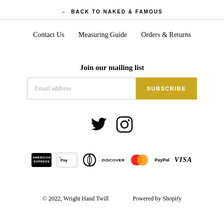← BACK TO NAKED & FAMOUS
Contact Us
Measuring Guide
Orders & Returns
Join our mailing list
Email address  SUBSCRIBE
[Figure (other): Twitter and Instagram social media icons]
[Figure (other): Payment method logos: American Express, Apple Pay, Diners Club, Discover, Mastercard, PayPal, Visa]
© 2022, Wright Hand Twill    Powered by Shopify